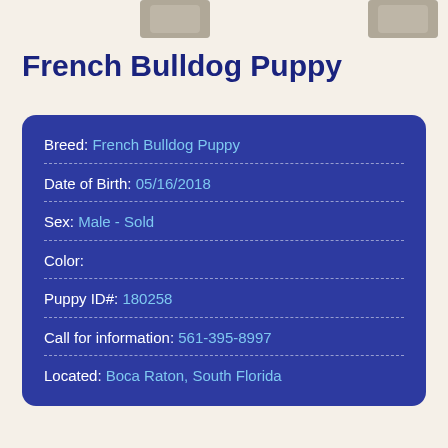[Figure (photo): Partial dog photos at top of page]
French Bulldog Puppy
| Breed: | French Bulldog Puppy |
| Date of Birth: | 05/16/2018 |
| Sex: | Male - Sold |
| Color: |  |
| Puppy ID#: | 180258 |
| Call for information: | 561-395-8997 |
| Located: | Boca Raton, South Florida |